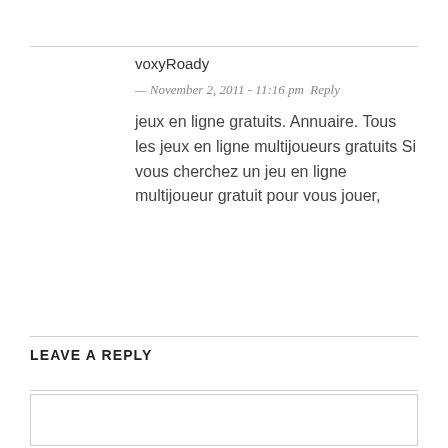voxyRoady
— November 2, 2011 - 11:16 pm  Reply
jeux en ligne gratuits. Annuaire. Tous les jeux en ligne multijoueurs gratuits Si vous cherchez un jeu en ligne multijoueur gratuit pour vous jouer,
LEAVE A REPLY
[Figure (other): Text input field with person icon for name]
[Figure (other): Text input field with mail/envelope icon for email]